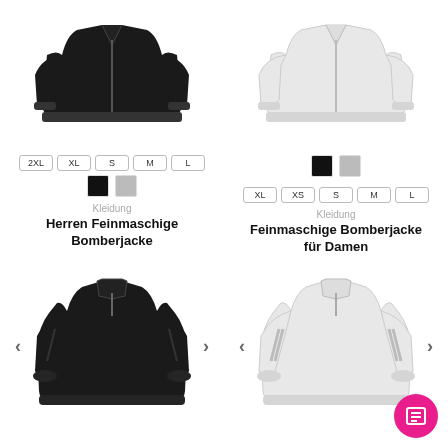[Figure (photo): Black bomber jacket (top, partially visible) - men's product]
[Figure (photo): White/light grey bomber jacket (top, partially visible) - women's product]
2XL XL S M L
Color swatches: black, grey
Color swatches: black, grey
XL XS S M L
Kleidung
Herren Feinmaschige Bomberjacke
Kleidung
Feinmaschige Bomberjacke für Damen
[Figure (photo): Black long-sleeve zip-neck jacket with navigation arrows]
[Figure (photo): White/light grey long-sleeve zip-neck jacket with navigation arrows]